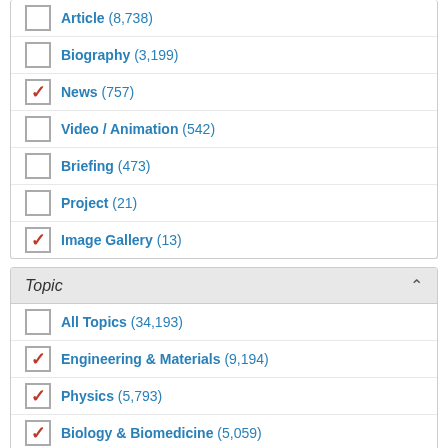Article (8,738)
Biography (3,199)
News (757) [checked]
Video / Animation (542)
Briefing (473)
Project (21)
Image Gallery (13) [checked]
Topic
All Topics (34,193)
Engineering & Materials (9,194) [checked]
Physics (5,793) [checked]
Biology & Biomedicine (5,059) [checked]
Earth Science (3,700)
Chemistry (2,853) [checked]
Zoology (2,720)
Health Sciences (2,374)
Astronomy & Space Science (2,020)
Botany (1,773)